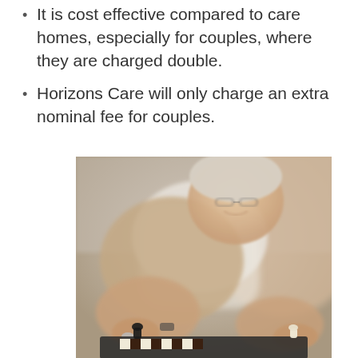It is cost effective compared to care homes, especially for couples, where they are charged double.
Horizons Care will only charge an extra nominal fee for couples.
[Figure (photo): An elderly person leaning forward smiling, playing chess, with hands reaching toward chess pieces on a board. Background is softly blurred.]